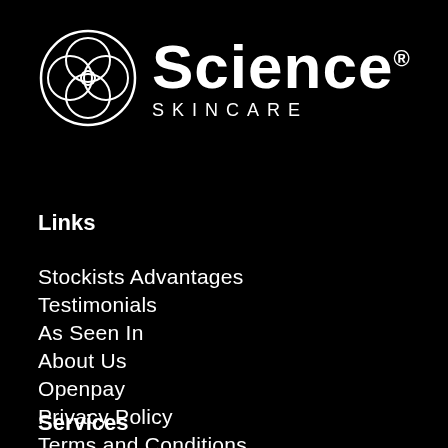[Figure (logo): Science Skincare logo — circular interlocking rings icon on the left, bold 'Science' text with registered trademark symbol and 'SKINCARE' in spaced capitals below]
Links
Stockists Advantages
Testimonials
As Seen In
About Us
Openpay
Privacy Policy
Terms and Conditions
Shipping and Returns
Services